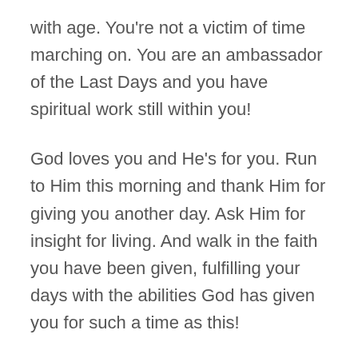with age. You're not a victim of time marching on. You are an ambassador of the Last Days and you have spiritual work still within you!
God loves you and He's for you. Run to Him this morning and thank Him for giving you another day. Ask Him for insight for living. And walk in the faith you have been given, fulfilling your days with the abilities God has given you for such a time as this!
Psalm 92:12-14 But the godly will flourish like palm trees and grow strong like the cedars of Lebanon. For they are transplanted to the LORD's